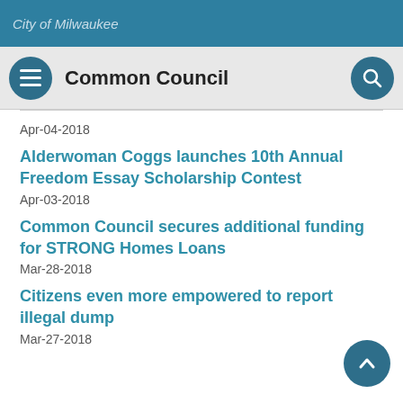City of Milwaukee
Common Council
Apr-04-2018
Alderwoman Coggs launches 10th Annual Freedom Essay Scholarship Contest
Apr-03-2018
Common Council secures additional funding for STRONG Homes Loans
Mar-28-2018
Citizens even more empowered to report illegal dump
Mar-27-2018